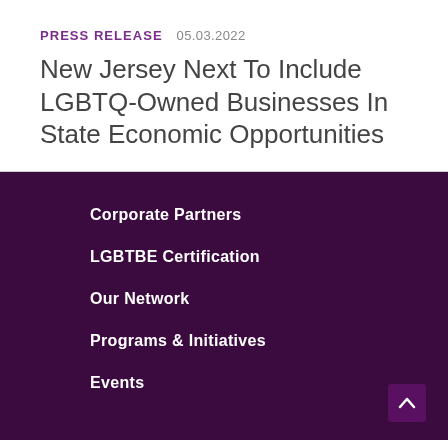PRESS RELEASE  05.03.2022
New Jersey Next To Include LGBTQ-Owned Businesses In State Economic Opportunities
Corporate Partners
LGBTBE Certification
Our Network
Programs & Initiatives
Events